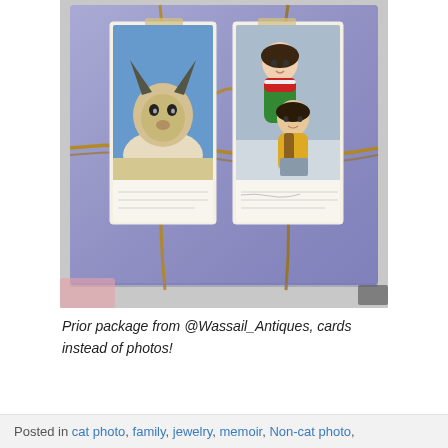[Figure (photo): A wrapped package in purple/lavender paper tied with twine, decorated with two vintage postcards taped on top — one showing a German Shepherd dog, the other showing illustrated children in colorful clothing.]
Prior package from @Wassail_Antiques, cards instead of photos!
Posted in cat photo, family, jewelry, memoir, Non-cat photo,